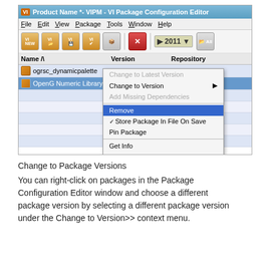[Figure (screenshot): VIPM VI Package Configuration Editor window showing a context menu with options: Change to Latest Version (grayed), Change to Version (with submenu arrow), Add Missing Dependencies (grayed), Remove (highlighted in blue), Store Package In File On Save (checked), Pin Package, Get Info, Get Info Other Version (with submenu arrow). The package list shows ogrsc_dynamicpalette and OpenG Numeric Library entries.]
Change to Package Versions
You can right-click on packages in the Package Configuration Editor window and choose a different package version by selecting a different package version under the Change to Version>> context menu.